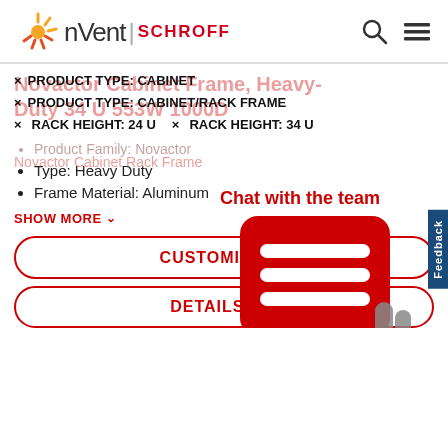[Figure (logo): nvent SCHROFF logo with sunburst icon and red SCHROFF text]
[Figure (screenshot): Search and hamburger menu icons in top right header]
Novactor Cabinet Frame, Heavy-Duty 34 U 553W 1000D
× PRODUCT TYPE: CABINET
× PRODUCT TYPE: CABINET/RACK FRAME
× RACK HEIGHT: 24 U   × RACK HEIGHT: 34 U
Novactor Cabinet Rack Frame
Product Family: Novactor
Type: Heavy Duty
Frame Material: Aluminum
SHOW MORE ∨
CUSTOMIZE ⚙
DETAILS →
[Figure (illustration): Chat with the team popup overlay with red speech bubble and grey chat icon]
Feedback